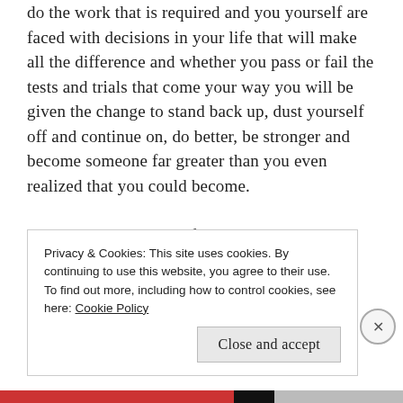do the work that is required and you yourself are faced with decisions in your life that will make all the difference and whether you pass or fail the tests and trials that come your way you will be given the change to stand back up, dust yourself off and continue on, do better, be stronger and become someone far greater than you even realized that you could become.

It starts right now. It is fueled with bravery, courage, stillness and calm.

Treat yourself and all others with kindness and
Privacy & Cookies: This site uses cookies. By continuing to use this website, you agree to their use.
To find out more, including how to control cookies, see here: Cookie Policy